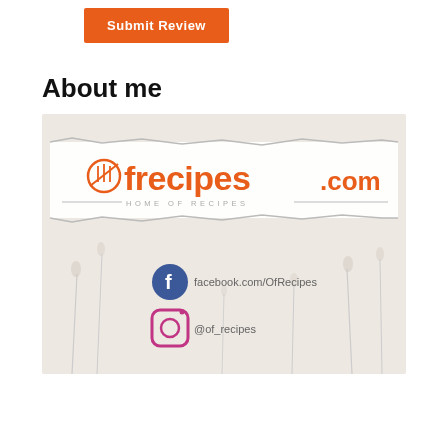[Figure (other): Orange 'Submit Review' button]
About me
[Figure (logo): OfRecipes.com logo image with social media links: facebook.com/OfRecipes and @of_recipes on Instagram, on a light floral background]